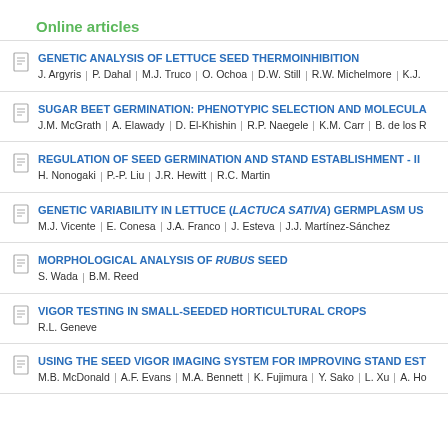Online articles
GENETIC ANALYSIS OF LETTUCE SEED THERMOINHIBITION
SUGAR BEET GERMINATION: PHENOTYPIC SELECTION AND MOLECULA...
REGULATION OF SEED GERMINATION AND STAND ESTABLISHMENT - II...
GENETIC VARIABILITY IN LETTUCE (LACTUCA SATIVA) GERMPLASM US...
MORPHOLOGICAL ANALYSIS OF RUBUS SEED
VIGOR TESTING IN SMALL-SEEDED HORTICULTURAL CROPS
USING THE SEED VIGOR IMAGING SYSTEM FOR IMPROVING STAND EST...